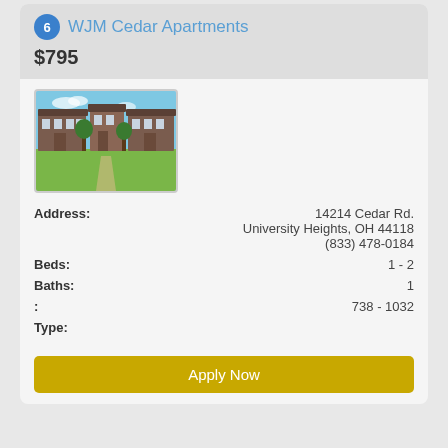6 WJM Cedar Apartments
$795
[Figure (photo): Exterior photo of WJM Cedar Apartments showing brick buildings with green lawn and blue sky]
| Field | Value |
| --- | --- |
| Address: | 14214 Cedar Rd.
University Heights, OH 44118
(833) 478-0184 |
| Beds: | 1 - 2 |
| Baths: | 1 |
| : | 738 - 1032 |
| Type: |  |
Apply Now